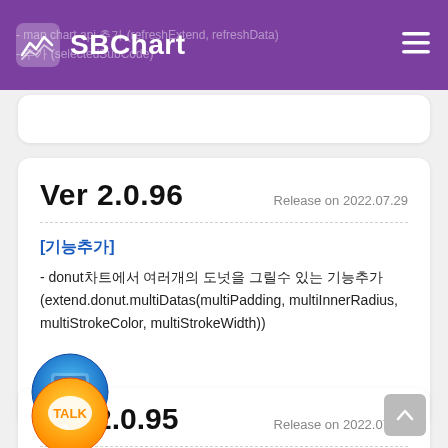SBChart
- map chart api 추가 (refreshExtend, refreshData)
- 추가 (selectedSubCode)
Ver 2.0.96
Release on 2022.07.29
[기능추가]
- donut차트에서 여러개의 도넛을 그릴수 있는 기능추가(extend.donut.multiDatas(multiPadding, multiInnerRadius, multiStrokeColor, multiStrokeWidth))
[Figure (illustration): Blue circular DEMO button with laptop icon]
[Figure (illustration): Yellow/orange circular TALK button with speech bubble]
Ver 2.0.95
Release on 2022.07.15